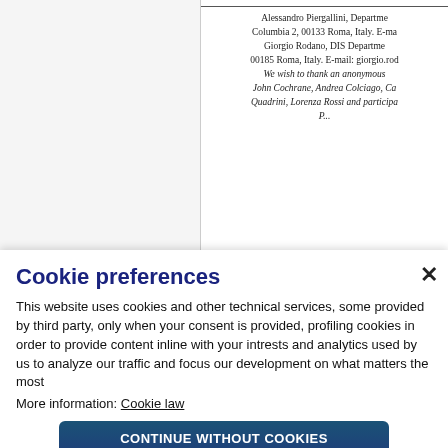Alessandro Piergallini, Department... Columbia 2, 00133 Roma, Italy. E-ma... Giorgio Rodano, DIS Department... 00185 Roma, Italy. E-mail: giorgio.rod... We wish to thank an anonymous... John Cochrane, Andrea Colciago, Ca... Quadrini, Lorenza Rossi and participa... P...
Cookie preferences
This website uses cookies and other technical services, some provided by third party, only when your consent is provided, profiling cookies in order to provide content inline with your intrests and analytics used by us to analyze our traffic and focus our development on what matters the most
More information: Cookie law
CONTINUE WITHOUT COOKIES
ACCEPT ALL
CUSTOMIZE